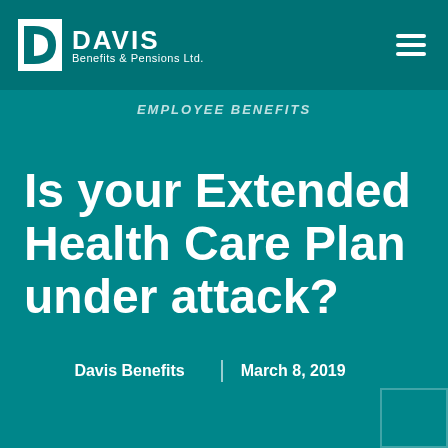DAVIS Benefits & Pensions Ltd.
EMPLOYEE BENEFITS
Is your Extended Health Care Plan under attack?
Davis Benefits | March 8, 2019